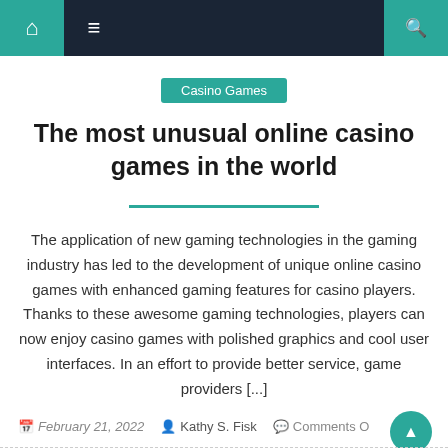Navigation bar with home, menu, and search icons
Casino Games
The most unusual online casino games in the world
The application of new gaming technologies in the gaming industry has led to the development of unique online casino games with enhanced gaming features for casino players. Thanks to these awesome gaming technologies, players can now enjoy casino games with polished graphics and cool user interfaces. In an effort to provide better service, game providers [...]
February 21, 2022  Kathy S. Fisk  Comments O